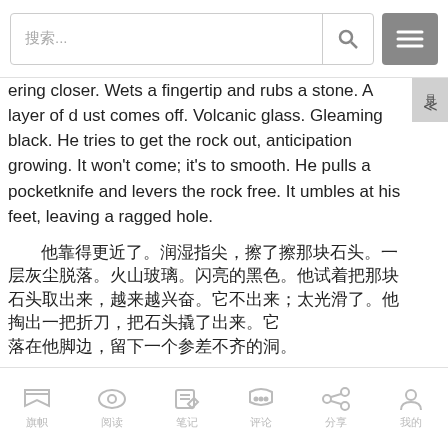搜索... [search icon] [menu icon]
ering closer. Wets a fingertip and rubs a stone. A layer of dust comes off. Volcanic glass. Gleaming black. He tries to get the rock out, anticipation growing. It won't come; it's too smooth. He pulls a pocketknife and levers the rock free. It umbles at his feet, leaving a ragged hole.
[CJK characters — translation of preceding passage]
Red leans down and solves the mystery at last, staring at the object buried under the rock. Stunned. It's an envelope wrapped in plastic. Written on it is a single word: "Red."
「Red leans down and solves the mystery at last,」[CJK characters]
旗帜  阅读  笔记  评论  分享  我的